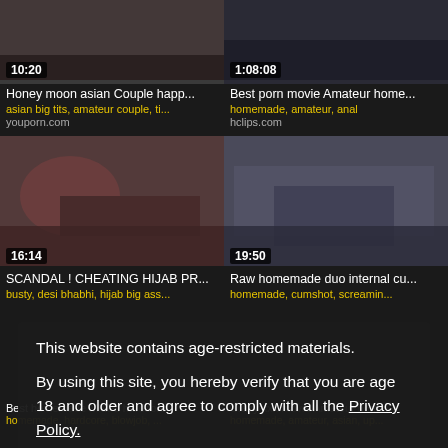[Figure (screenshot): Video thumbnail top-left with duration 10:20]
[Figure (screenshot): Video thumbnail top-right with duration 1:08:08]
Honey moon asian Couple happ...
Best porn movie Amateur home...
asian big tits, amateur couple, ti...
homemade, amateur, anal
youporn.com
hclips.com
[Figure (screenshot): Video thumbnail mid-left with duration 16:14]
[Figure (screenshot): Video thumbnail mid-right with duration 19:50]
SCANDAL ! CHEATING HIJAB PR...
Raw homemade duo internal cu...
busty, desi bhabhi, hijab big ass...
homemade, cumshot, screamin...
This website contains age-restricted materials. By using this site, you hereby verify that you are age 18 and older and agree to comply with all the Privacy Policy. We use cookies to provide you the best possible experience on our website and to monitor website traffic. Cookies Policy.
Best homemade MILFs hardcore
Crazy xxx movie Amateur home...
homemade, hardcore, blowjob, ...
homemade, amateur, asian, up...